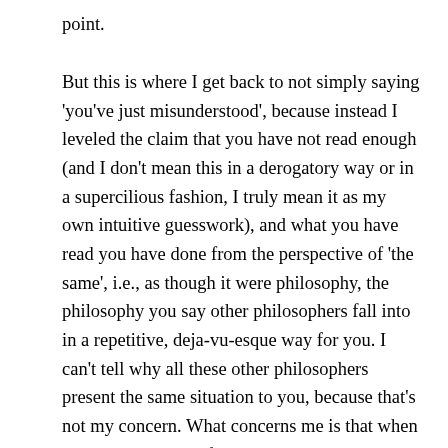point.
But this is where I get back to not simply saying 'you've just misunderstood', because instead I leveled the claim that you have not read enough (and I don't mean this in a derogatory way or in a supercilious fashion, I truly mean it as my own intuitive guesswork), and what you have read you have done from the perspective of 'the same', i.e., as though it were philosophy, the philosophy you say other philosophers fall into in a repetitive, deja-vu-esque way for you. I can't tell why all these other philosophers present the same situation to you, because that's not my concern. What concerns me is that when I read you I get the feeling that you have not read enough NP, and whatever NP you have